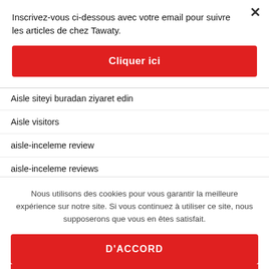Inscrivez-vous ci-dessous avec votre email pour suivre les articles de chez Tawaty.
Cliquer ici
Aisle siteyi buradan ziyaret edin
Aisle visitors
aisle-inceleme review
aisle-inceleme reviews
Nous utilisons des cookies pour vous garantir la meilleure expérience sur notre site. Si vous continuez à utiliser ce site, nous supposerons que vous en êtes satisfait.
D'ACCORD